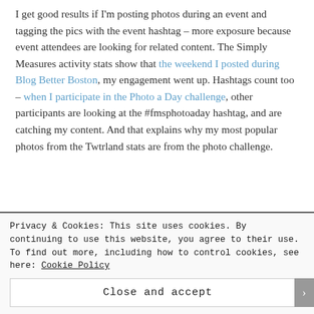I get good results if I'm posting photos during an event and tagging the pics with the event hashtag – more exposure because event attendees are looking for related content. The Simply Measures activity stats show that the weekend I posted during Blog Better Boston, my engagement went up. Hashtags count too – when I participate in the Photo a Day challenge, other participants are looking at the #fmsphotoaday hashtag, and are catching my content. And that explains why my most popular photos from the Twtrland stats are from the photo challenge.
Privacy & Cookies: This site uses cookies. By continuing to use this website, you agree to their use. To find out more, including how to control cookies, see here: Cookie Policy
Close and accept